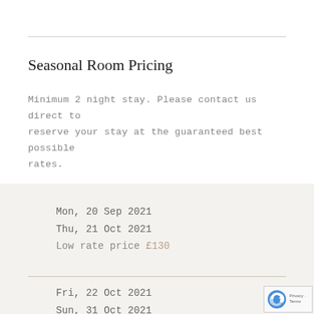Seasonal Room Pricing
Minimum 2 night stay. Please contact us direct to reserve your stay at the guaranteed best possible rates.
Mon, 20 Sep 2021
Thu, 21 Oct 2021
Low rate price £130
Fri, 22 Oct 2021
Sun, 31 Oct 2021
£150